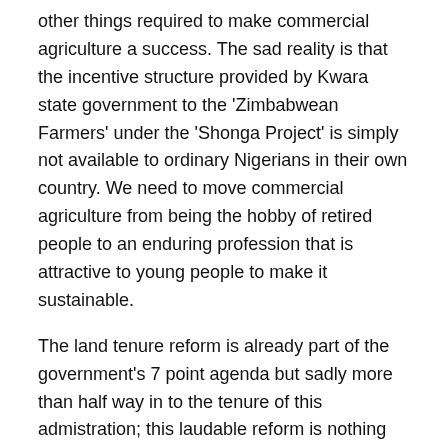other things required to make commercial agriculture a success. The sad reality is that the incentive structure provided by Kwara state government to the 'Zimbabwean Farmers' under the 'Shonga Project' is simply not available to ordinary Nigerians in their own country. We need to move commercial agriculture from being the hobby of retired people to an enduring profession that is attractive to young people to make it sustainable.
The land tenure reform is already part of the government's 7 point agenda but sadly more than half way in to the tenure of this admistration; this laudable reform is nothing more than a proposed bill gathering dust in the National assembly. I hope the National assembly will realise the importance of this reform and work on the bill. Lastly, Governor Nyako listed low productivity as the number one factor affecting farming in Nigeria. Now, Governor Nyako should know